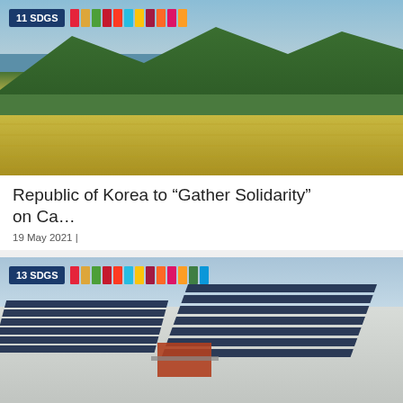[Figure (photo): Aerial view of tropical rice fields with green mountains and blue sky in the background. SDG badge overlay reading '11 SDGS' with colorful SDG color strips.]
Republic of Korea to “Gather Solidarity” on Ca…
19 May 2021 |
[Figure (photo): Aerial view of solar panel farm in a snowy landscape. SDG badge overlay reading '13 SDGS' with colorful SDG color strips.]
Advancing the SDGs and Acceleratio…